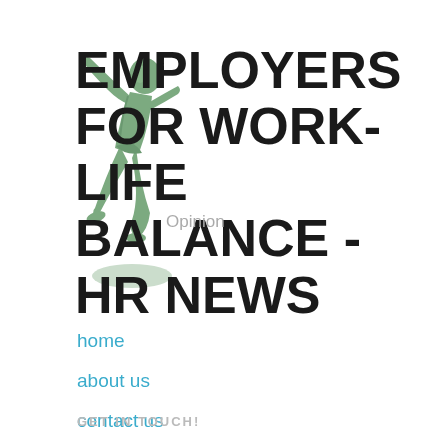[Figure (illustration): Green illustrated figure of a person in dynamic leaping/flying pose, rendered in muted sage green, positioned to the left of the title text]
EMPLOYERS FOR WORK-LIFE BALANCE - HR NEWS
Opinion
home
about us
contact us
guest posting opportunities
GET IN TOUCH!